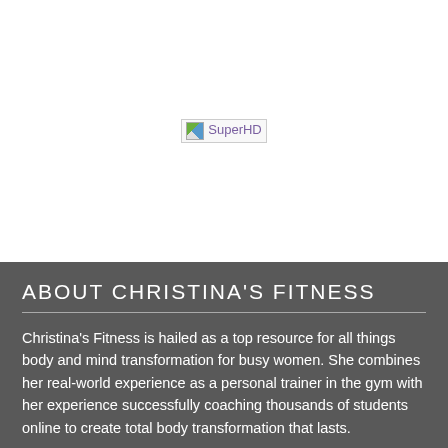[Figure (photo): Broken image placeholder labeled 'SuperHD']
ABOUT CHRISTINA'S FITNESS
Christina's Fitness is hailed as a top resource for all things body and mind transformation for busy women. She combines her real-world experience as a personal trainer in the gym with her experience successfully coaching thousands of students online to create total body transformation that lasts.